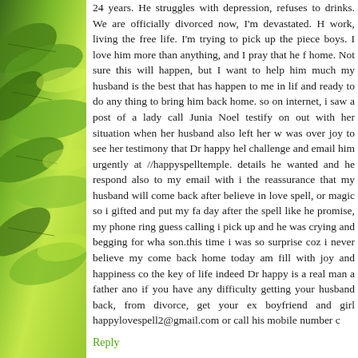[Figure (illustration): Green leaves and foliage background on the left sidebar]
24 years. He struggles with depression, refuses to drinks. We are officially divorced now, I'm devastated. H work, living the free life. I'm trying to pick up the piece boys. I love him more than anything, and I pray that he f home. Not sure this will happen, but I want to help him much my husband is the best that has happen to me in lif and ready to do any thing to bring him back home. so on internet, i saw a post of a lady call Junia Noel testify on out with her situation when her husband also left her w was over joy to see her testimony that Dr happy hel challenge and email him urgently at //happyspelltemple. details he wanted and he respond also to my email with i the reassurance that my husband will come back after believe in love spell, or magic so i gifted and put my fa day after the spell like he promise, my phone ring guess calling i pick up and he was crying and begging for wha son.this time i was so surprise coz i never believe my come back home today am fill with joy and happiness co the key of life indeed Dr happy is a real man a father ano if you have any difficulty getting your husband back, from divorce, get your ex boyfriend and girl happylovespell2@gmail.com or call his mobile number c
Reply